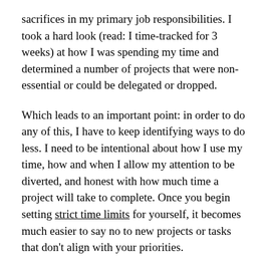sacrifices in my primary job responsibilities. I took a hard look (read: I time-tracked for 3 weeks) at how I was spending my time and determined a number of projects that were non-essential or could be delegated or dropped.
Which leads to an important point: in order to do any of this, I have to keep identifying ways to do less. I need to be intentional about how I use my time, how and when I allow my attention to be diverted, and honest with how much time a project will take to complete. Once you begin setting strict time limits for yourself, it becomes much easier to say no to new projects or tasks that don't align with your priorities.
Final Thoughts
I am very lucky to be in a position where I can make these choices to grow. Although one of the reasons I...